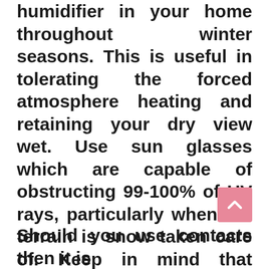humidifier in your home throughout winter seasons. This is useful in tolerating the forced atmosphere heating and retaining your dry view wet. Use sun glasses which are capable of obstructing 99-100% of UV rays, particularly when the terrain is snow taken care of. Keep in mind that sunlight reflected through the snowfall can cause sunburned eye. Overexposed eyes to sun's UV rays while in winter seasons can cause temporary damage like photo keratitis. It is therefore highly recommended to work with top quality of UV-blocking shades.
Should you use contacts then it is